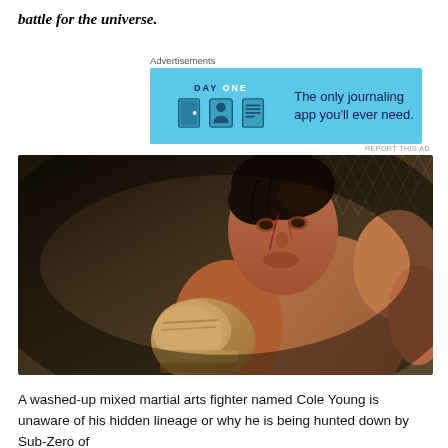battle for the universe.
[Figure (screenshot): Advertisement banner for Day One journaling app on a light blue background with app icons and text: 'The only journaling app you'll ever need.']
[Figure (photo): A washed-up male MMA fighter with wraps on his fists in a fighting stance inside a cage, with blood on his face, looking intense.]
A washed-up mixed martial arts fighter named Cole Young is unaware of his hidden lineage or why he is being hunted down by Sub-Zero of